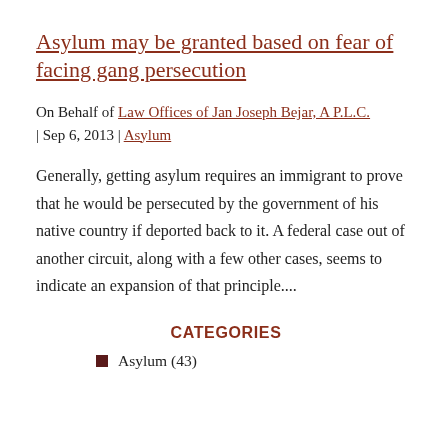Asylum may be granted based on fear of facing gang persecution
On Behalf of Law Offices of Jan Joseph Bejar, A P.L.C. | Sep 6, 2013 | Asylum
Generally, getting asylum requires an immigrant to prove that he would be persecuted by the government of his native country if deported back to it. A federal case out of another circuit, along with a few other cases, seems to indicate an expansion of that principle....
CATEGORIES
Asylum (43)